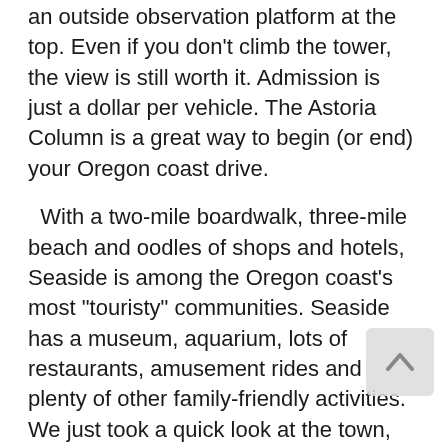an outside observation platform at the top. Even if you don't climb the tower, the view is still worth it. Admission is just a dollar per vehicle. The Astoria Column is a great way to begin (or end) your Oregon coast drive.
With a two-mile boardwalk, three-mile beach and oodles of shops and hotels, Seaside is among the Oregon coast's most "touristy" communities. Seaside has a museum, aquarium, lots of restaurants, amusement rides and plenty of other family-friendly activities. We just took a quick look at the town, but if you're looking to spend two or three days in one spot along the Oregon coast, this is one